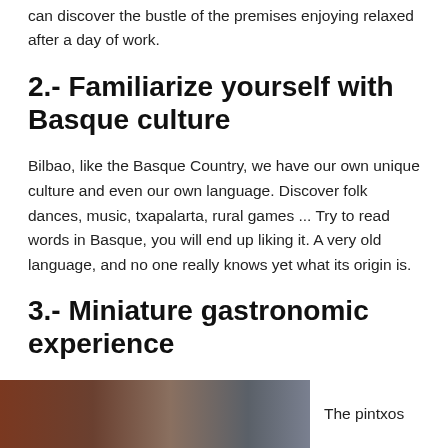can discover the bustle of the premises enjoying relaxed after a day of work.
2.- Familiarize yourself with Basque culture
Bilbao, like the Basque Country, we have our own unique culture and even our own language. Discover folk dances, music, txapalarta, rural games ... Try to read words in Basque, you will end up liking it. A very old language, and no one really knows yet what its origin is.
3.- Miniature gastronomic experience
[Figure (photo): Photo of pintxos food items]
The pintxos